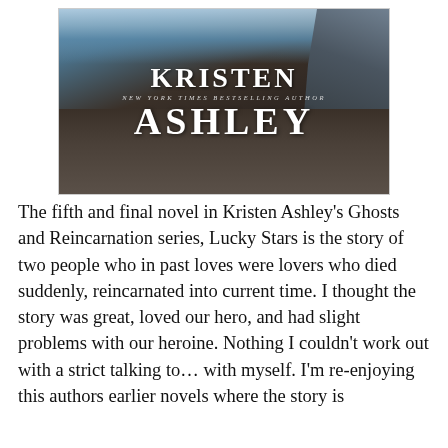[Figure (illustration): Book cover showing 'KRISTEN ASHLEY' in large white serif text over a dark beach/rocky coastal background with ocean waves. Subtitle text reads 'NEW YORK TIMES BESTSELLING AUTHOR'.]
The fifth and final novel in Kristen Ashley's Ghosts and Reincarnation series, Lucky Stars is the story of two people who in past loves were lovers who died suddenly, reincarnated into current time. I thought the story was great, loved our hero, and had slight problems with our heroine. Nothing I couldn't work out with a strict talking to… with myself. I'm re-enjoying this authors earlier novels where the story is